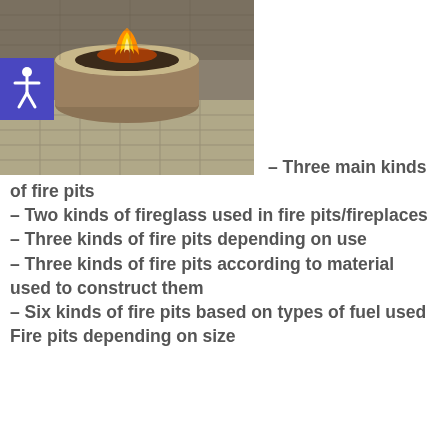[Figure (photo): Outdoor circular stone fire pit with flame burning, set on tiled patio with stone wall background. A blue accessibility icon overlay is on the left side of the image.]
– Three main kinds of fire pits – Two kinds of fireglass used in fire pits/fireplaces – Three kinds of fire pits depending on use – Three kinds of fire pits according to material used to construct them – Six kinds of fire pits based on types of fuel used Fire pits depending on size